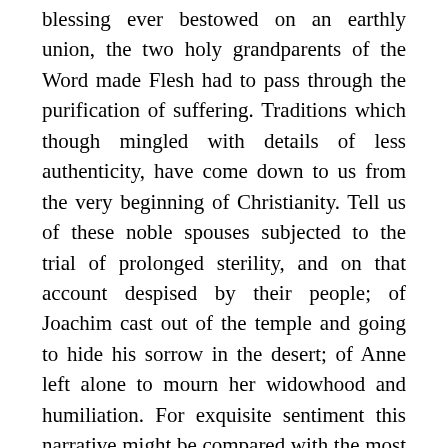blessing ever bestowed on an earthly union, the two holy grandparents of the Word made Flesh had to pass through the purification of suffering. Traditions which though mingled with details of less authenticity, have come down to us from the very beginning of Christianity. Tell us of these noble spouses subjected to the trial of prolonged sterility, and on that account despised by their people; of Joachim cast out of the temple and going to hide his sorrow in the desert; of Anne left alone to mourn her widowhood and humiliation. For exquisite sentiment this narrative might be compared with the most beautiful histories in Holy Scripture.